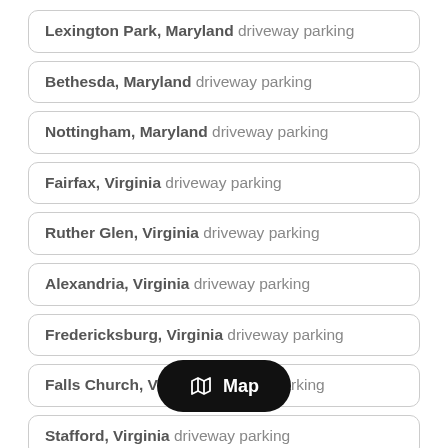Lexington Park, Maryland driveway parking
Bethesda, Maryland driveway parking
Nottingham, Maryland driveway parking
Fairfax, Virginia driveway parking
Ruther Glen, Virginia driveway parking
Alexandria, Virginia driveway parking
Fredericksburg, Virginia driveway parking
Falls Church, Virginia driveway parking
Stafford, Virginia driveway parking
Louisa, Virginia driveway parking
Arlington, Virginia driveway parking